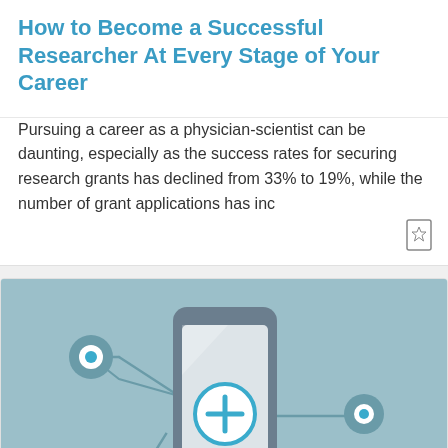How to Become a Successful Researcher At Every Stage of Your Career
Pursuing a career as a physician-scientist can be daunting, especially as the success rates for securing research grants has declined from 33% to 19%, while the number of grant applications has inc
[Figure (illustration): Illustration of a smartphone with a blue plus-circle button, connected by lines to circular node icons on a teal/blue background. A time badge showing a clock icon and '45 m' is in the bottom-left corner.]
FUNDAMENTALS OF MANUSCRIPT PREPARATION